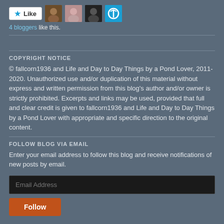[Figure (other): Like button with star icon and four blogger avatar thumbnails]
4 bloggers like this.
COPYRIGHT NOTICE
© fallcorn1936 and Life and Day to Day Things by a Pond Lover, 2011-2020. Unauthorized use and/or duplication of this material without express and written permission from this blog's author and/or owner is strictly prohibited. Excerpts and links may be used, provided that full and clear credit is given to fallcorn1936 and Life and Day to Day Things by a Pond Lover with appropriate and specific direction to the original content.
FOLLOW BLOG VIA EMAIL
Enter your email address to follow this blog and receive notifications of new posts by email.